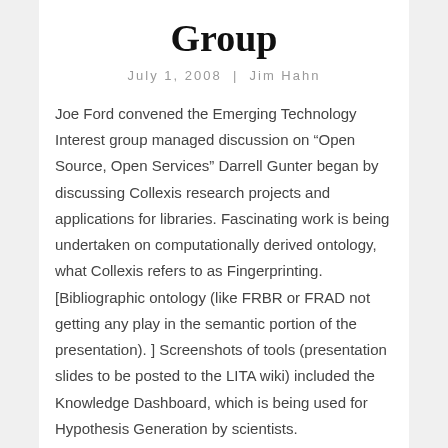Group
July 1, 2008  |  Jim Hahn
Joe Ford convened the Emerging Technology Interest group managed discussion on “Open Source, Open Services” Darrell Gunter began by discussing Collexis research projects and applications for libraries. Fascinating work is being undertaken on computationally derived ontology, what Collexis refers to as Fingerprinting. [Bibliographic ontology (like FRBR or FRAD not getting any play in the semantic portion of the presentation). ] Screenshots of tools (presentation slides to be posted to the LITA wiki) included the Knowledge Dashboard, which is being used for Hypothesis Generation by scientists. Biomedexperts.com discussed as a Collexis partner with tools for researchers to discover...